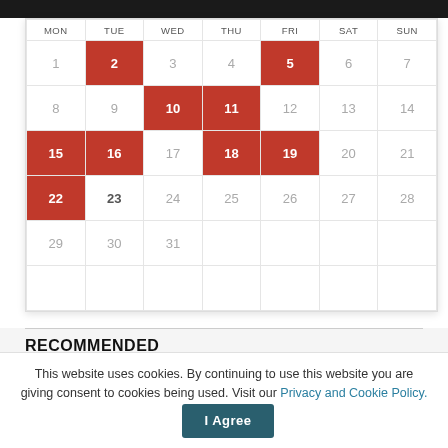| MON | TUE | WED | THU | FRI | SAT | SUN |
| --- | --- | --- | --- | --- | --- | --- |
| 1 | 2 | 3 | 4 | 5 | 6 | 7 |
| 8 | 9 | 10 | 11 | 12 | 13 | 14 |
| 15 | 16 | 17 | 18 | 19 | 20 | 21 |
| 22 | 23 | 24 | 25 | 26 | 27 | 28 |
| 29 | 30 | 31 |  |  |  |  |
|  |  |  |  |  |  |  |
RECOMMENDED
This website uses cookies. By continuing to use this website you are giving consent to cookies being used. Visit our Privacy and Cookie Policy.